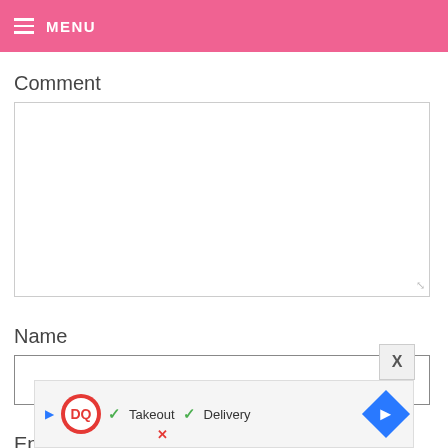MENU
Comment
[Figure (screenshot): Empty comment textarea input field with resize handle at bottom right]
Name
[Figure (screenshot): Empty name text input field]
Email
[Figure (screenshot): Advertisement banner for Dairy Queen showing Takeout and Delivery options with navigation arrow icon, and an X close button]